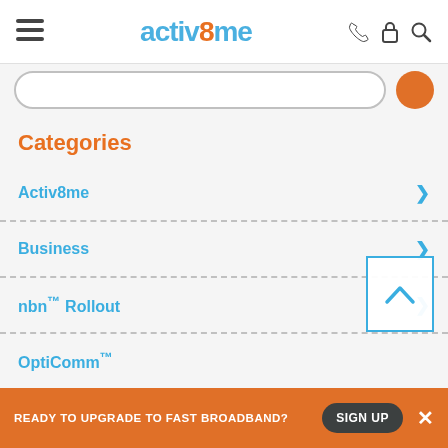activ8me navigation header with hamburger menu, logo, phone, lock, and search icons
Categories
Activ8me
Business
nbn™ Rollout
OptiComm™
READY TO UPGRADE TO FAST BROADBAND? SIGN UP ×